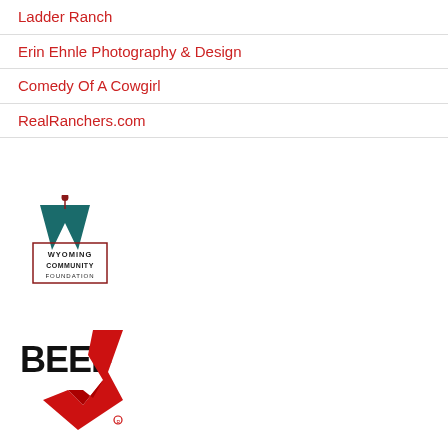Ladder Ranch
Erin Ehnle Photography & Design
Comedy Of A Cowgirl
RealRanchers.com
[Figure (logo): Wyoming Community Foundation logo — teal W shape with wheat/flower emblem above, rectangular border, text WYOMING COMMUNITY FOUNDATION]
[Figure (logo): BEEF magazine logo — bold black BEEF text with red checkmark/V shape]